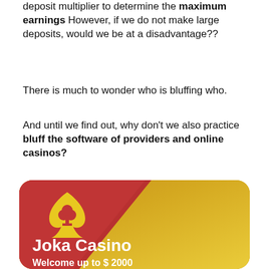deposit multiplier to determine the maximum earnings However, if we do not make large deposits, would we be at a disadvantage??
There is much to wonder who is bluffing who.
And until we find out, why don't we also practice bluff the software of providers and online casinos?
[Figure (illustration): Joka Casino promotional card with gold background, red diagonal section with a yellow spade-club logo icon, bold white text 'Joka Casino' and 'Welcome up to $ 2000']